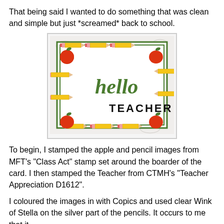That being said I wanted to do something that was clean and simple but just *screamed* back to school.
[Figure (photo): A handmade greeting card decorated with a border of pencils and red apples. In the center is a green cursive 'hello' die cut and stamped 'TEACHER' text in black. The card has a green inner border on a patterned background.]
To begin, I stamped the apple and pencil images from MFT's "Class Act" stamp set around the boarder of the card. I then stamped the Teacher from CTMH's "Teacher Appreciation D1612".
I coloured the images in with Copics and used clear Wink of Stella on the silver part of the pencils. It occurs to me that it